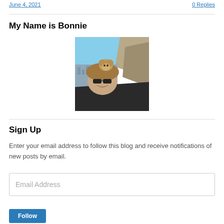June 4, 2021   0 Replies
My Name is Bonnie
[Figure (photo): A woman with sunglasses smiling outdoors at a high vantage point with a monkey on her head, rocky cliffs and a city in the background.]
Sign Up
Enter your email address to follow this blog and receive notifications of new posts by email.